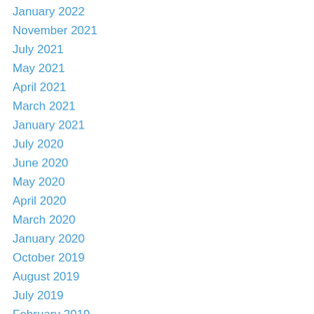January 2022
November 2021
July 2021
May 2021
April 2021
March 2021
January 2021
July 2020
June 2020
May 2020
April 2020
March 2020
January 2020
October 2019
August 2019
July 2019
February 2019
December 2018
August 2018
July 2018